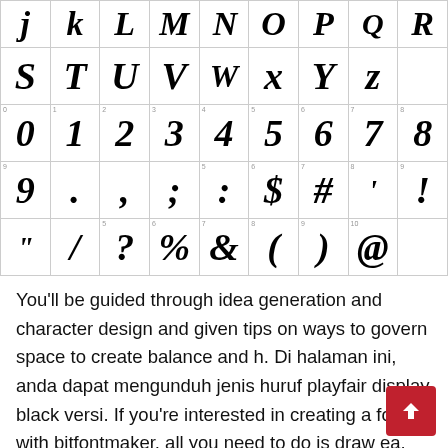[Figure (other): Character table showing bold italic glyphs of a display font (Playfair Display Black). Rows show: uppercase J-R, S-Z; digits 0-8; digit 9 and punctuation (. , ; : $ # ' !); punctuation (" / ? % & ( ) @).]
You'll be guided through idea generation and character design and given tips on ways to govern space to create balance and h. Di halaman ini, anda dapat mengunduh jenis huruf playfair display black versi. If you're interested in creating a font with bitfontmaker, all you need to do is draw ea. Licensed for personal & commercial use.